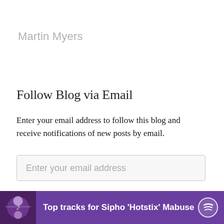Martin Myers
Follow Blog via Email
Enter your email address to follow this blog and receive notifications of new posts by email.
Enter your email address
FOLLOW
[Figure (screenshot): Purple Spotify advertisement banner showing 'Top tracks for Sipho ‘Hotstix’ Mabuse' with a concert image on the left and the Spotify logo on the right.]